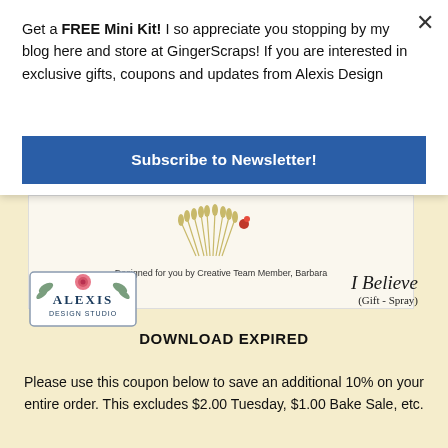Get a FREE Mini Kit! I so appreciate you stopping by my blog here and store at GingerScraps! If you are interested in exclusive gifts, coupons and updates from Alexis Design
Subscribe to Newsletter!
[Figure (illustration): Alexis Design Studio card showing decorative floral elements, text 'Designed for you by Creative Team Member, Barbara', Alexis Design Studio logo, and 'I Believe (Gift - Spray)' label]
DOWNLOAD EXPIRED
Please use this coupon below to save an additional 10% on your entire order. This excludes $2.00 Tuesday, $1.00 Bake Sale, etc.